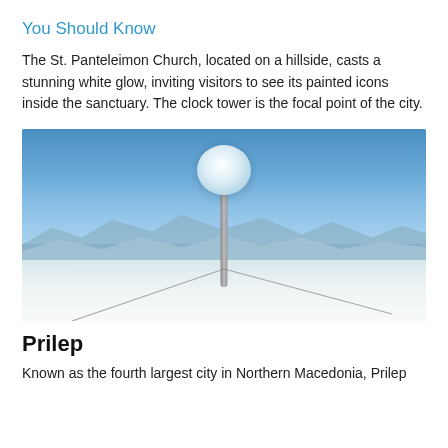You Should Know
The St. Panteleimon Church, located on a hillside, casts a stunning white glow, inviting visitors to see its painted icons inside the sanctuary. The clock tower is the focal point of the city.
[Figure (photo): A snow-covered weather monitoring station or instrument on a pole at a mountain summit, with blue sky and mountain ranges visible in the background, and a snowy foreground.]
Prilep
Known as the fourth largest city in Northern Macedonia, Prilep